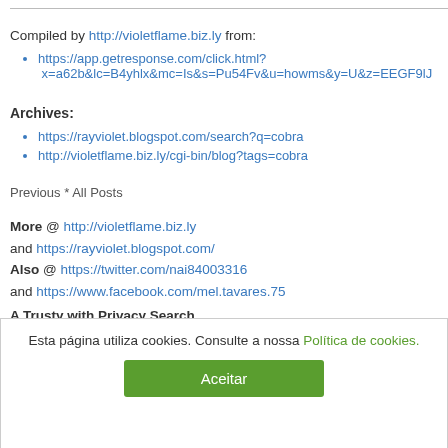Compiled by http://violetflame.biz.ly from:
https://app.getresponse.com/click.html?x=a62b&lc=B4yhlx&mc=Is&s=Pu54Fv&u=howms&y=U&z=EEGF9lJ
Archives:
https://rayviolet.blogspot.com/search?q=cobra
http://violetflame.biz.ly/cgi-bin/blog?tags=cobra
Previous * All Posts
More @ http://violetflame.biz.ly
and https://rayviolet.blogspot.com/
Also @ https://twitter.com/nai84003316
and https://www.facebook.com/mel.tavares.75
A Trusty with Privacy Search
Esta página utiliza cookies. Consulte a nossa Política de cookies.
Aceitar